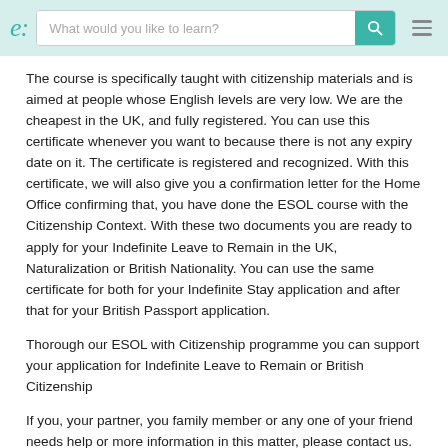e: | What would you like to learn?
The course is specifically taught with citizenship materials and is aimed at people whose English levels are very low. We are the cheapest in the UK, and fully registered. You can use this certificate whenever you want to because there is not any expiry date on it. The certificate is registered and recognized. With this certificate, we will also give you a confirmation letter for the Home Office confirming that, you have done the ESOL course with the Citizenship Context. With these two documents you are ready to apply for your Indefinite Leave to Remain in the UK, Naturalization or British Nationality. You can use the same certificate for both for your Indefinite Stay application and after that for your British Passport application.
Thorough our ESOL with Citizenship programme you can support your application for Indefinite Leave to Remain or British Citizenship
If you, your partner, you family member or any one of your friend needs help or more information in this matter, please contact us. We will try to put you to the right direction. Our staffs speak